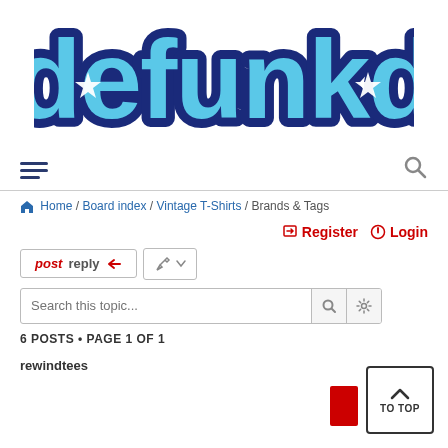[Figure (logo): defunkd logo — rounded bubbly blue letters with dark blue outline and white stars inside 'd' letters]
[Figure (infographic): Navigation bar with hamburger menu icon on left and search magnifying glass icon on right, separated from breadcrumb by horizontal line]
Home / Board index / Vintage T-Shirts / Brands & Tags
Register Login
post reply
Search this topic...
6 POSTS • PAGE 1 OF 1
rewindtees